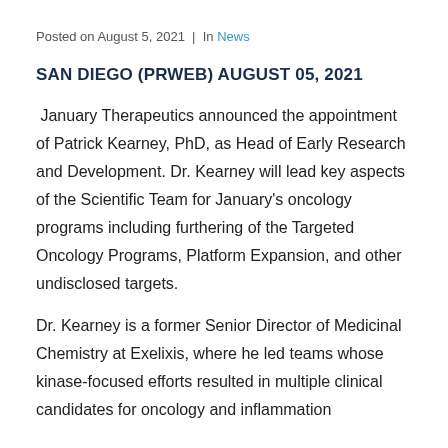Posted on August 5, 2021  |  In News
SAN DIEGO (PRWEB) AUGUST 05, 2021
January Therapeutics announced the appointment of Patrick Kearney, PhD, as Head of Early Research and Development. Dr. Kearney will lead key aspects of the Scientific Team for January's oncology programs including furthering of the Targeted Oncology Programs, Platform Expansion, and other undisclosed targets.
Dr. Kearney is a former Senior Director of Medicinal Chemistry at Exelixis, where he led teams whose kinase-focused efforts resulted in multiple clinical candidates for oncology and inflammation